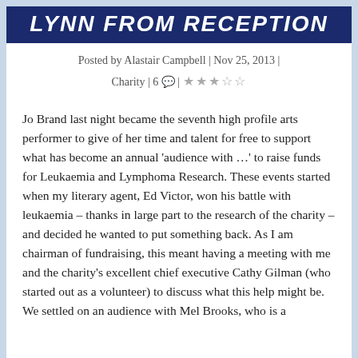LYNN FROM RECEPTION
Posted by Alastair Campbell | Nov 25, 2013 | Charity | 6 💬 | ★★★★★
Jo Brand last night became the seventh high profile arts performer to give of her time and talent for free to support what has become an annual 'audience with …' to raise funds for Leukaemia and Lymphoma Research. These events started when my literary agent, Ed Victor, won his battle with leukaemia – thanks in large part to the research of the charity – and decided he wanted to put something back. As I am chairman of fundraising, this meant having a meeting with me and the charity's excellent chief executive Cathy Gilman (who started out as a volunteer) to discuss what this help might be. We settled on an audience with Mel Brooks, who is a